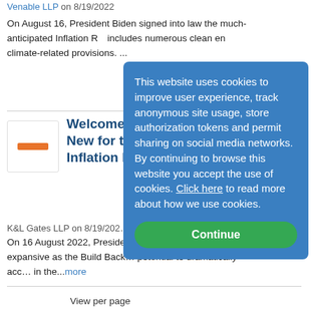Venable LLP on 8/19/2022
On August 16, President Biden signed into law the much-anticipated Inflation R… includes numerous clean en… climate-related provisions. ...
[Figure (other): Thumbnail image placeholder with orange bar]
Welcome to the Revolution: New for the Energy I… Inflation Reduct…
K&L Gates LLP on 8/19/202…
On 16 August 2022, Preside… Inflation Reduction Act of 2… expansive as the Build Back… potential to dramatically acc… in the...more
View per page
This website uses cookies to improve user experience, track anonymous site usage, store authorization tokens and permit sharing on social media networks. By continuing to browse this website you accept the use of cookies. Click here to read more about how we use cookies. Continue